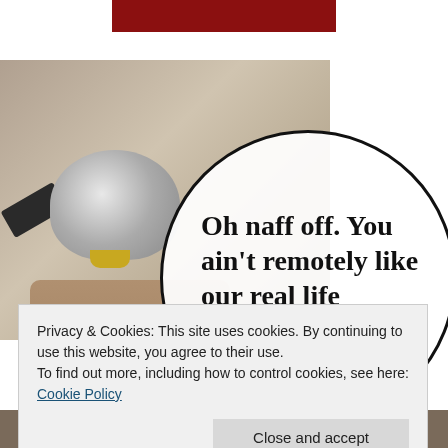[Figure (photo): Top red/dark photo strip at the top of the page]
[Figure (photo): Hamster or bird photo with metallic helmet-like object on its head, positioned on the left side of the page]
[Figure (illustration): Circle speech bubble with bold serif text: Oh naff off. You ain't remotely like our real life Hamster Bond]
Oh naff off. You ain't remotely like our real life Hamster Bond
Privacy & Cookies: This site uses cookies. By continuing to use this website, you agree to their use.
To find out more, including how to control cookies, see here: Cookie Policy
Close and accept
[Figure (photo): Bottom strip showing partial animal photo]